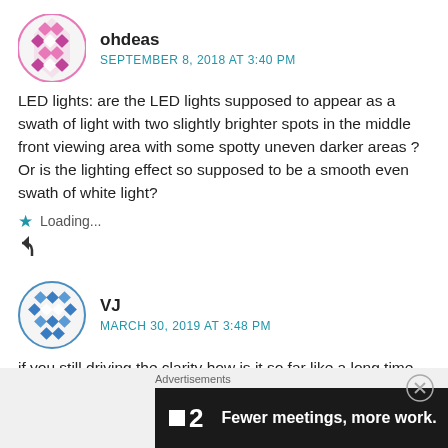[Figure (illustration): Pink and white geometric diamond/globe avatar for user ohdeas]
ohdeas
SEPTEMBER 8, 2018 AT 3:40 PM
LED lights: are the LED lights supposed to appear as a swath of light with two slightly brighter spots in the middle front viewing area with some spotty uneven darker areas ? Or is the lighting effect so supposed to be a smooth even swath of white light?
Loading...
[Figure (illustration): Blue and white geometric diamond avatar for user VJ]
VJ
MARCH 30, 2019 AT 3:48 PM
if you still driving the clarity how is it so far like a long time test drive.
Loading...
Advertisements
[Figure (screenshot): Dark advertisement banner: square logo followed by '2' and text 'Fewer meetings, more work.']